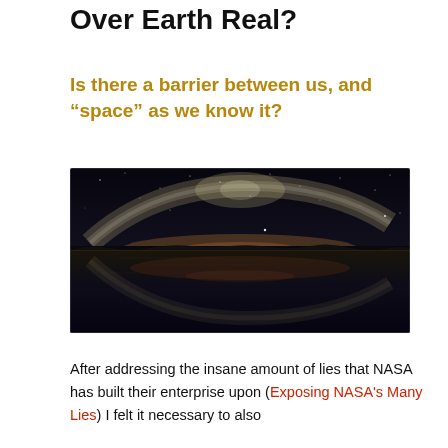Over Earth Real?
Is there a barrier between us, and “space” as we know it?
[Figure (photo): Night sky panorama showing the Milky Way arched over a flat reflective landscape, mirrored in a still body of water below. Dark silhouetted horizon with glowing band of light.]
After addressing the insane amount of lies that NASA has built their enterprise upon (Exposing NASA’s Many Lies) I felt it necessary to also